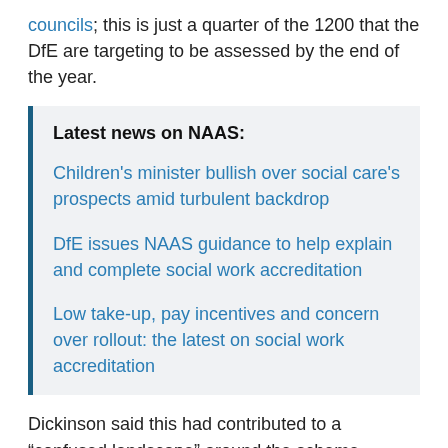councils; this is just a quarter of the 1200 that the DfE are targeting to be assessed by the end of the year.
Latest news on NAAS:
Children's minister bullish over social care's prospects amid turbulent backdrop
DfE issues NAAS guidance to help explain and complete social work accreditation
Low take-up, pay incentives and concern over rollout: the latest on social work accreditation
Dickinson said this had contributed to a “confused landscape” around the scheme, leaving social workers unsure of its advantages and creating doubt around its value.